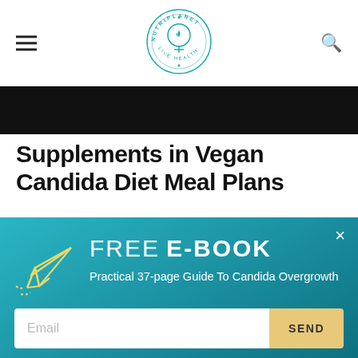NUTRIPLANET · LIVE HEALTHY (logo)
[Figure (photo): Black banner/bar image below the navigation header]
Supplements in Vegan Candida Diet Meal Plans
[Figure (infographic): Teal popup overlay with paper plane icon, FREE E-BOOK heading, subtitle 'Practical 37-page Guide To Candida Overgrowth', email input field with SEND button, and close (×) button]